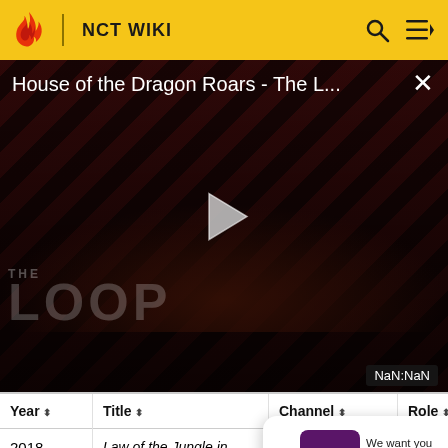NCT WIKI
[Figure (screenshot): Video player overlay showing 'House of the Dragon Roars - The L...' with diagonal red/dark striped background, THE LOOP watermark, play button, and NaN:NaN duration badge]
| Year ⬍ | Title ⬍ | Channel ⬍ | Role ⬍ | Note |
| --- | --- | --- | --- | --- |
| 2018 | Law of the Jungle in Maldives | SBS |  | We want you discussions SURVEY: ON |
| Knowing | JTBC |  |  |  |